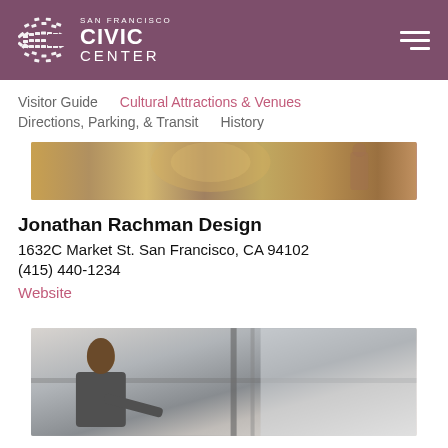[Figure (logo): San Francisco Civic Center logo with globe-like C icon on purple/mauve header background]
Visitor Guide    Cultural Attractions & Venues
Directions, Parking, & Transit    History
[Figure (photo): Interior photo strip showing decorative architectural or interior design elements with warm golden tones]
Jonathan Rachman Design
1632C Market St. San Francisco, CA 94102
(415) 440-1234
Website